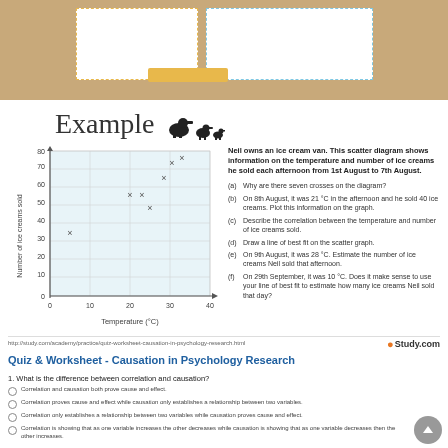Example
[Figure (scatter-plot): Ice cream sales vs temperature]
Neil owns an ice cream van. This scatter diagram shows information on the temperature and number of ice creams he sold each afternoon from 1st August to 7th August.
(a) Why are there seven crosses on the diagram?
(b) On 8th August, it was 21 °C in the afternoon and he sold 40 ice creams. Plot this information on the graph.
(c) Describe the correlation between the temperature and number of ice creams sold.
(d) Draw a line of best fit on the scatter graph.
(e) On 9th August, it was 28 °C. Estimate the number of ice creams Neil sold that afternoon.
(f) On 29th September, it was 10 °C. Does it make sense to use your line of best fit to estimate how many ice creams Neil sold that day?
http://study.com/academy/practice/quiz-worksheet-causation-in-psychology-research.html
Quiz & Worksheet - Causation in Psychology Research
1. What is the difference between correlation and causation?
Correlation and causation both prove cause and effect.
Correlation proves cause and effect while causation only establishes a relationship between two variables.
Correlation only establishes a relationship between two variables while causation proves cause and effect.
Correlation is showing that as one variable increases the other decreases while causation is showing that as one variable decreases then the other increases.